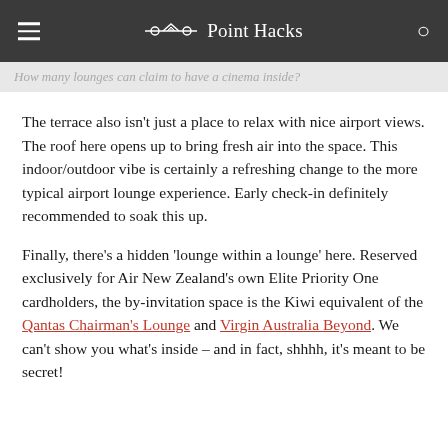Point Hacks
How many lounges can claim to have a cinema inside?
The terrace also isn't just a place to relax with nice airport views. The roof here opens up to bring fresh air into the space. This indoor/outdoor vibe is certainly a refreshing change to the more typical airport lounge experience. Early check-in definitely recommended to soak this up.
Finally, there's a hidden 'lounge within a lounge' here. Reserved exclusively for Air New Zealand's own Elite Priority One cardholders, the by-invitation space is the Kiwi equivalent of the Qantas Chairman's Lounge and Virgin Australia Beyond. We can't show you what's inside – and in fact, shhhh, it's meant to be secret!